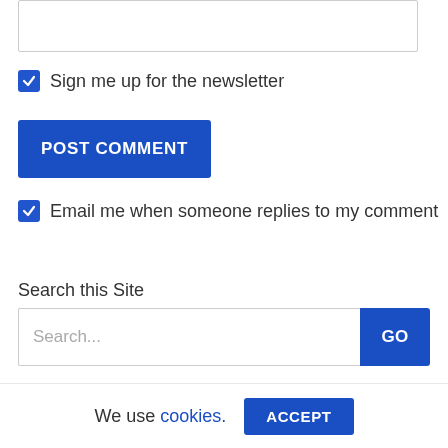[Figure (screenshot): Text input box at top of page, partially visible]
Sign me up for the newsletter
POST COMMENT
Email me when someone replies to my comment
Search this Site
Search... GO
Our Articles
We use cookies. ACCEPT